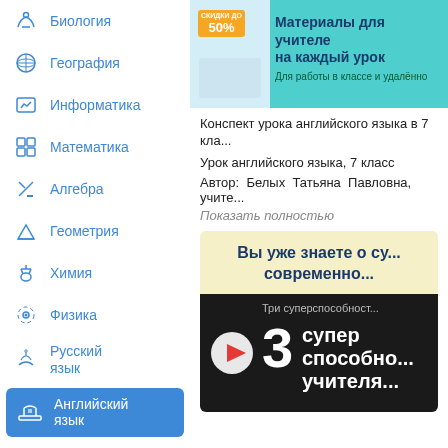Биология
География
Информатика
Математика
Алгебра
Геометрия
Химия
Физика
Русский язык
Английский язык
[Figure (screenshot): Advertisement banner for teacher materials with 50% discount, teal background]
Конспект урока английского языка в 7 кла...
Урок английского языка, 7 класс
Автор: Белых Татьяна Павловна, учите...
Показать полностью
[Figure (screenshot): Promotional box with yellow background about teacher superpowers with video thumbnail showing '3 суперспособности учителя']